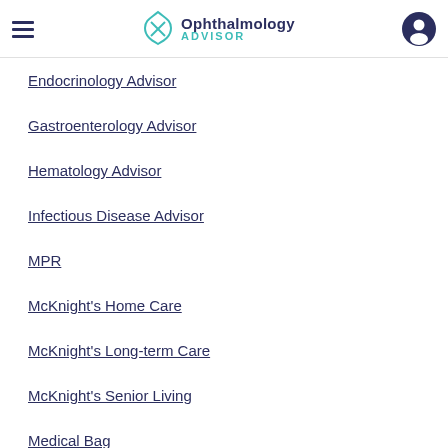Ophthalmology Advisor
Endocrinology Advisor
Gastroenterology Advisor
Hematology Advisor
Infectious Disease Advisor
MPR
McKnight's Home Care
McKnight's Long-term Care
McKnight's Senior Living
Medical Bag
MyCME News Letters
Neurology Advisor